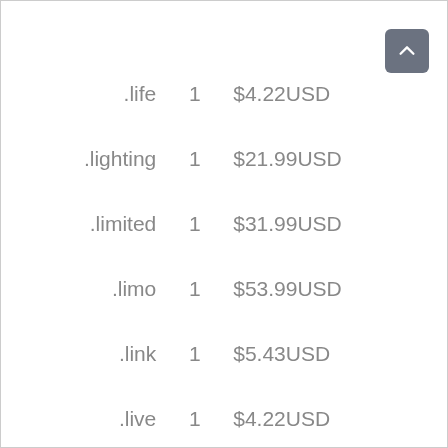| Extension | Years | Price |
| --- | --- | --- |
| .life | 1 | $4.22USD |
| .lighting | 1 | $21.99USD |
| .limited | 1 | $31.99USD |
| .limo | 1 | $53.99USD |
| .link | 1 | $5.43USD |
| .live | 1 | $4.22USD |
| .loan | 1 | $4.22USD |